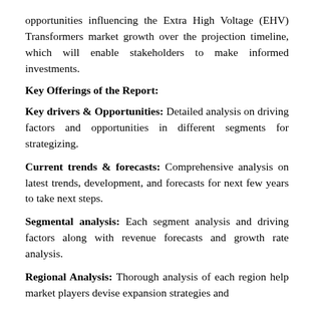opportunities influencing the Extra High Voltage (EHV) Transformers market growth over the projection timeline, which will enable stakeholders to make informed investments.
Key Offerings of the Report:
Key drivers & Opportunities: Detailed analysis on driving factors and opportunities in different segments for strategizing.
Current trends & forecasts: Comprehensive analysis on latest trends, development, and forecasts for next few years to take next steps.
Segmental analysis: Each segment analysis and driving factors along with revenue forecasts and growth rate analysis.
Regional Analysis: Thorough analysis of each region help market players devise expansion strategies and